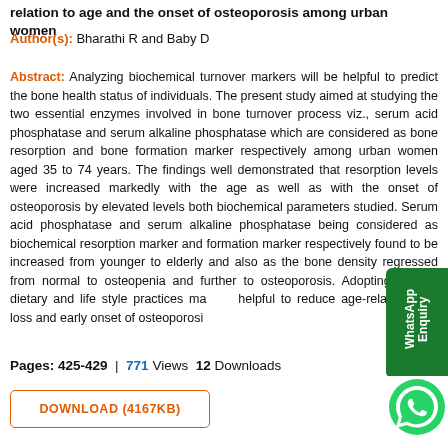relation to age and the onset of osteoporosis among urban women
Author(s): Bharathi R and Baby D
Abstract: Analyzing biochemical turnover markers will be helpful to predict the bone health status of individuals. The present study aimed at studying the two essential enzymes involved in bone turnover process viz., serum acid phosphatase and serum alkaline phosphatase which are considered as bone resorption and bone formation marker respectively among urban women aged 35 to 74 years. The findings well demonstrated that resorption levels were increased markedly with the age as well as with the onset of osteoporosis by elevated levels both biochemical parameters studied. Serum acid phosphatase and serum alkaline phosphatase being considered as biochemical resorption marker and formation marker respectively found to be increased from younger to elderly and also as the bone density regressed from normal to osteopenia and further to osteoporosis. Adopting healthy dietary and life style practices may be helpful to reduce age-related bone loss and early onset of osteoporosis.
Pages: 425-429  |  771 Views  12 Downloads
DOWNLOAD (4167KB)